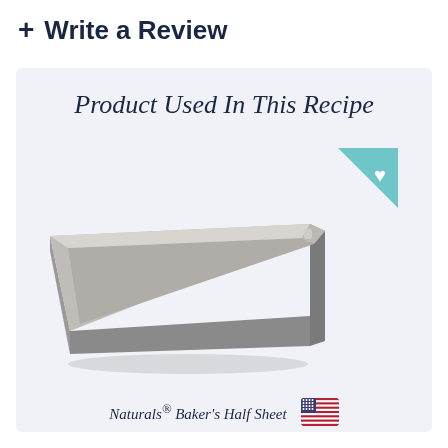+ Write a Review
Product Used In This Recipe
[Figure (photo): A silver aluminum baking sheet (half sheet pan) shown in perspective view with a teal triangle badge with a white heart in the upper right corner]
Naturals® Baker's Half Sheet